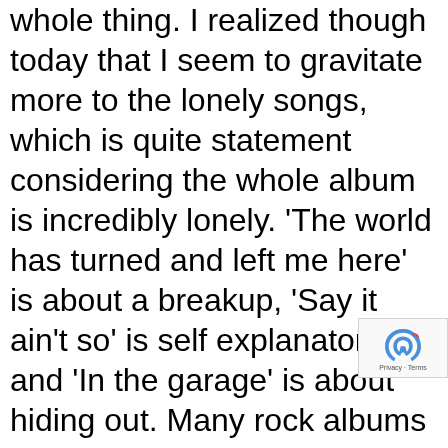whole thing. I realized though today that I seem to gravitate more to the lonely songs, which is quite statement considering the whole album is incredibly lonely. 'The world has turned and left me here' is about a breakup, 'Say it ain't so' is self explanatory and 'In the garage' is about hiding out. Many rock albums allude to scars and insecurities, but most also hide behind 'look at me now' choruses. I think a huge part of The Blue Albums success was its authenticity; we could tell that the struggle was genuine for them, that their words came from a place that